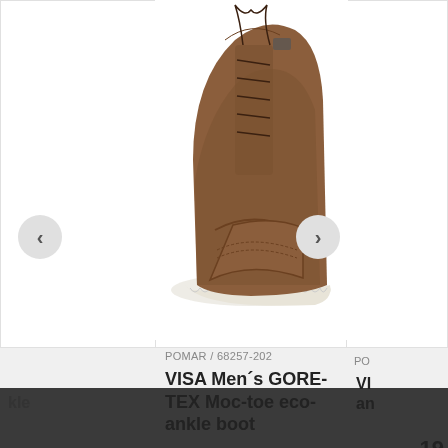[Figure (photo): Brown leather lace-up ankle boot with white sole (VISA Men's GORE-TEX Moc-toe eco-ankle boot) on white background]
POMAR / 68257-202
VISA Men´s GORE-TEX Moc-toe eco-ankle boot
219,00 €
40 41 42 43 44 45 46
kle
PO
VI
an
19
40